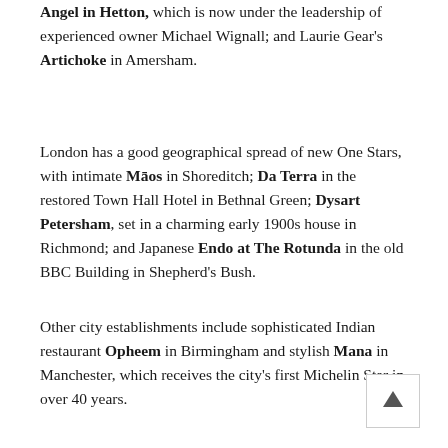Angel in Hetton, which is now under the leadership of experienced owner Michael Wignall; and Laurie Gear's Artichoke in Amersham.
London has a good geographical spread of new One Stars, with intimate Māos in Shoreditch; Da Terra in the restored Town Hall Hotel in Bethnal Green; Dysart Petersham, set in a charming early 1900s house in Richmond; and Japanese Endo at The Rotunda in the old BBC Building in Shepherd's Bush.
Other city establishments include sophisticated Indian restaurant Opheem in Birmingham and stylish Mana in Manchester, which receives the city's first Michelin Star in over 40 years.